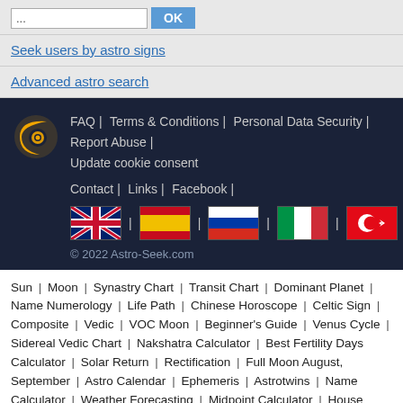... [search input] OK
Seek users by astro signs
Advanced astro search
FAQ | Terms & Conditions | Personal Data Security | Report Abuse | Update cookie consent
Contact | Links | Facebook |
[flags: UK, Spain, Russia, Italy, Turkey]
© 2022 Astro-Seek.com
Sun | Moon | Synastry Chart | Transit Chart | Dominant Planet | Name Numerology | Life Path | Chinese Horoscope | Celtic Sign | Composite | Vedic | VOC Moon | Beginner's Guide | Venus Cycle | Sidereal Vedic Chart | Nakshatra Calculator | Best Fertility Days Calculator | Solar Return | Rectification | Full Moon August, September | Astro Calendar | Ephemeris | Astrotwins | Name Calculator | Weather Forecasting | Midpoint Calculator | House Systems | Solar Arc | Zodiac Symbols | Zodiac Signs Dates | Mercury Retrograde | Venus | Electional | Eclipses | Gardening | Sabian Symbols | Big Three | Daily Love Horoscope | Tarot Astrology | Planetary Overview | Chart Interpretations | Natal Aspects | Synastry Aspects | Transit